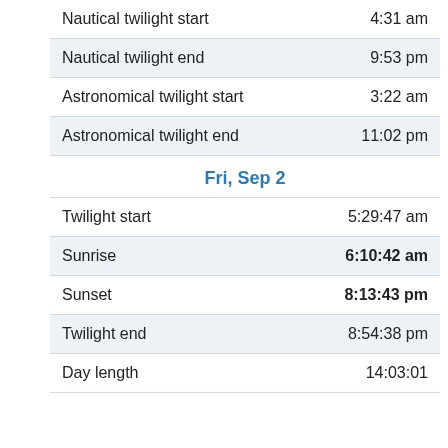| Event | Time |
| --- | --- |
| Nautical twilight start | 4:31 am |
| Nautical twilight end | 9:53 pm |
| Astronomical twilight start | 3:22 am |
| Astronomical twilight end | 11:02 pm |
| Fri, Sep 2 |  |
| Twilight start | 5:29:47 am |
| Sunrise | 6:10:42 am |
| Sunset | 8:13:43 pm |
| Twilight end | 8:54:38 pm |
| Day length | 14:03:01 |